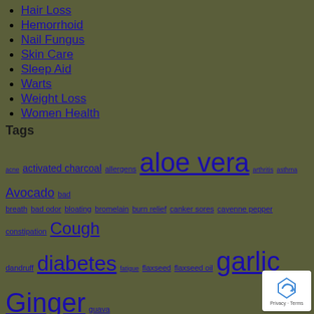Hair Loss
Hemorrhoid
Nail Fungus
Skin Care
Sleep Aid
Warts
Weight Loss
Women Health
Tags
acne activated charcoal allergens aloe vera arthritis asthma Avocado bad breath bad odor bloating bromelain burn relief canker sores cayenne pepper constipation Cough dandruff diabetes fatigue flaxseed flaxseed oil garlic Ginger guava leaves hair and scalp hair loss hemorrhoid hot sitz bath hypertension inflammation insomnia treatment lemon natural effective remedy natural remedies oily skin olive oil poor blood flow poor digestion probiotics smoking sore throat Turmeric vaginitis treatment weight loss yeast infection
Meta
Log in